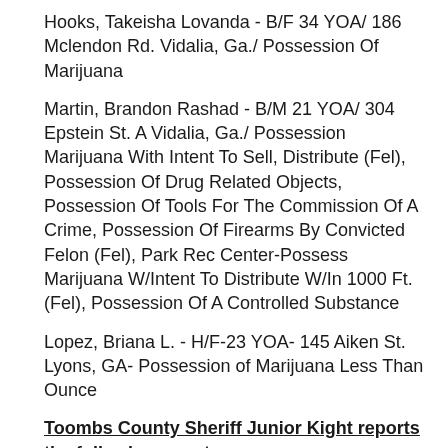Hooks, Takeisha Lovanda - B/F 34 YOA/ 186 Mclendon Rd. Vidalia, Ga./ Possession Of Marijuana
Martin, Brandon Rashad - B/M 21 YOA/ 304 Epstein St. A Vidalia, Ga./ Possession Marijuana With Intent To Sell, Distribute (Fel), Possession Of Drug Related Objects, Possession Of Tools For The Commission Of A Crime, Possession Of Firearms By Convicted Felon (Fel), Park Rec Center-Possess Marijuana W/Intent To Distribute W/In 1000 Ft. (Fel), Possession Of A Controlled Substance
Lopez, Briana L. - H/F-23 YOA- 145 Aiken St. Lyons, GA- Possession of Marijuana Less Than Ounce
Toombs County Sheriff Junior Kight reports the following arrests.
David Cruz, Collins, Deposit Account Fraud, Bad checks
Ivey Gillis, Vidalia, DUI, Open Container-